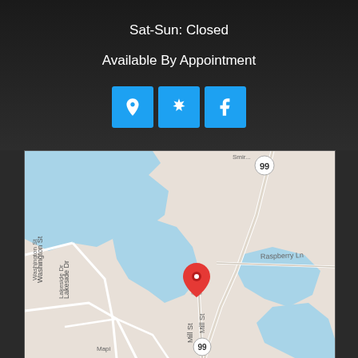Sat-Sun: Closed
Available By Appointment
[Figure (other): Row of three blue icon buttons: location pin (Google Maps), Yelp star, Facebook logo]
[Figure (map): Google Maps view showing a location pin on a street map with water bodies (light blue), roads including route 99, street labels: Washington St, Lakeside Dr, Raspberry Ln, Mill St, Mapi... with a red location marker pin in the center]